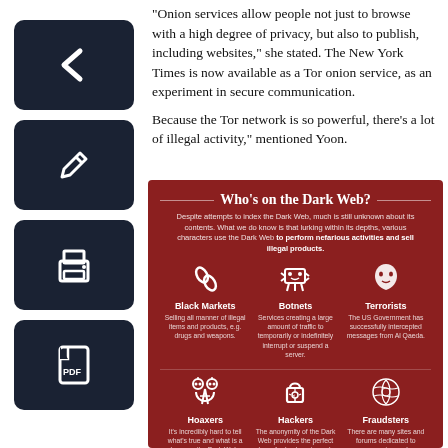"Onion services allow people not just to browse with a high degree of privacy, but also to publish, including websites," she stated. The New York Times is now available as a Tor onion service, as an experiment in secure communication.
Because the Tor network is so powerful, there's a lot of illegal activity," mentioned Yoon.
[Figure (infographic): Infographic titled 'Who's on the Dark Web?' on dark red background. Describes six categories of Dark Web users: Black Markets (selling illegal items), Botnets (services creating large traffic to interrupt servers), Terrorists (US Government intercepted Al Qaeda messages), Hoaxers (hard to tell true from hoax), Hackers (anonymity provides perfect base), Fraudsters (sites dedicated to scamming and counterfeiting).]